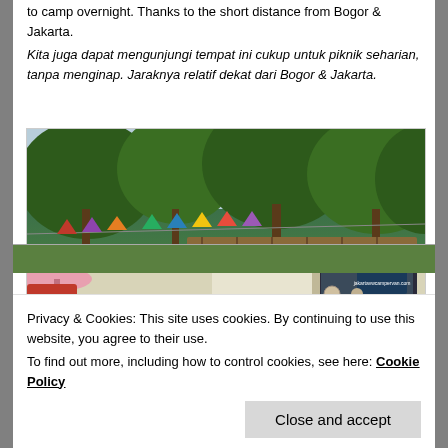to camp overnight. Thanks to the short distance from Bogor & Jakarta.
Kita juga dapat mengunjungi tempat ini cukup untuk piknik seharian, tanpa menginap. Jaraknya relatif dekat dari Bogor & Jakarta.
[Figure (photo): A VW campervan (jakartavwcampervan.com) decorated with colorful bunting flags, parked outdoors among trees with green foliage in the background.]
Privacy & Cookies: This site uses cookies. By continuing to use this website, you agree to their use.
To find out more, including how to control cookies, see here: Cookie Policy